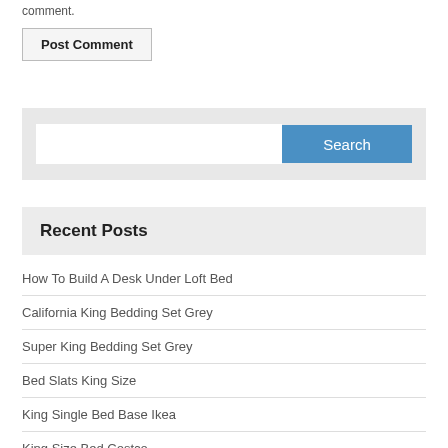comment.
[Figure (screenshot): Post Comment button — a rectangular button with border and label 'Post Comment']
[Figure (screenshot): Search widget with a text input field and a blue 'Search' button]
Recent Posts
How To Build A Desk Under Loft Bed
California King Bedding Set Grey
Super King Bedding Set Grey
Bed Slats King Size
King Single Bed Base Ikea
King Size Bed Costco